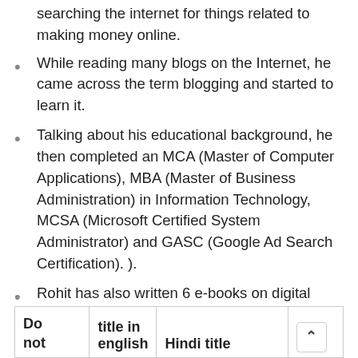searching the internet for things related to making money online.
While reading many blogs on the Internet, he came across the term blogging and started to learn it.
Talking about his educational background, he then completed an MCA (Master of Computer Applications), MBA (Master of Business Administration) in Information Technology, MCSA (Microsoft Certified System Administrator) and GASC (Google Ad Search Certification). ).
Rohit has also written 6 e-books on digital marketing, which are available in Hindi and English and you can also buy them on Amazon. Here is the list;
| Do not | title in english | Hindi title |  |
| --- | --- | --- | --- |